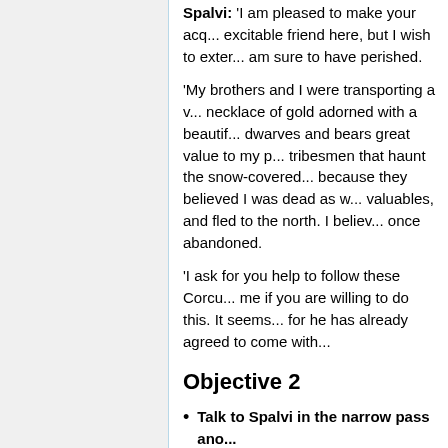Spalvi: 'I am pleased to make your acq... excitable friend here, but I wish to exter... am sure to have perished.
'My brothers and I were transporting a v... necklace of gold adorned with a beautif... dwarves and bears great value to my p... tribesmen that haunt the snow-covered... because they believed I was dead as w... valuables, and fled to the north. I belie... once abandoned.
'I ask for you help to follow these Corcu... me if you are willing to do this. It seems... for he has already agreed to come with...
Objective 2
Talk to Spalvi in the narrow pass ano...
Travel with Spalvi to Helegrod.
Bingo: 'I do not know very much about...
Spalvi: 'I am ready to avenge my kin a...